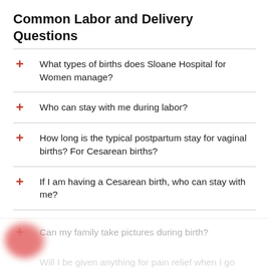Common Labor and Delivery Questions
What types of births does Sloane Hospital for Women manage?
Who can stay with me during labor?
How long is the typical postpartum stay for vaginal births? For Cesarean births?
If I am having a Cesarean birth, who can stay with me?
Can my family take pictures during birth?
Will I be given anything for pain relief when I go...